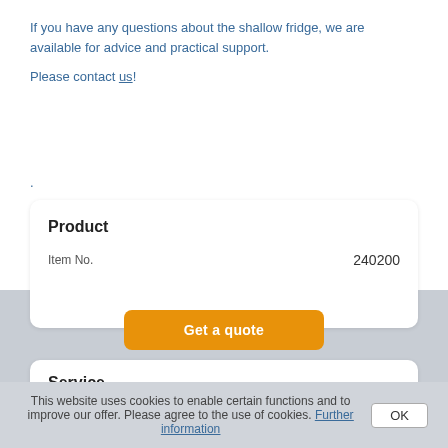If you have any questions about the shallow fridge, we are available for advice and practical support.
Please contact us!
.
Product
| Item No. |  |
| --- | --- |
| Item No. | 240200 |
Get a quote
Service
print version
Look for similar items
This website uses cookies to enable certain functions and to improve our offer. Please agree to the use of cookies. Further information OK